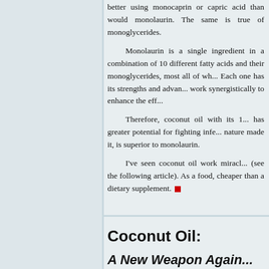better using monocaprin or capric acid than would monolaurin. The same is true of monoglycerides.
Monolaurin is a single ingredient in a combination of 10 different fatty acids and their monoglycerides, most all of which... Each one has its strengths and advantages work synergistically to enhance the eff...
Therefore, coconut oil with its 1... has greater potential for fighting infe... nature made it, is superior to monolaurin.
I've seen coconut oil work miracles (see the following article). As a food, cheaper than a dietary supplement.
Coconut Oil:
A New Weapon Again...